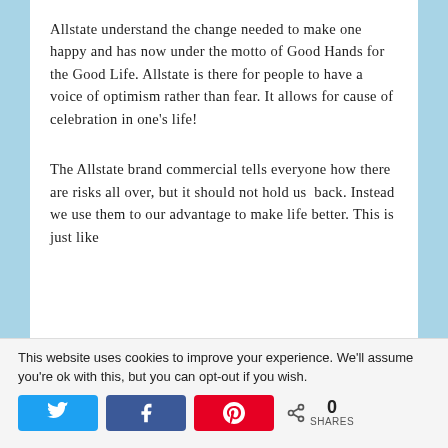Allstate understand the change needed to make one happy and has now under the motto of Good Hands for the Good Life. Allstate is there for people to have a voice of optimism rather than fear. It allows for cause of celebration in one's life!
The Allstate brand commercial tells everyone how there are risks all over, but it should not hold us  back. Instead we use them to our advantage to make life better. This is just like
This website uses cookies to improve your experience. We'll assume you're ok with this, but you can opt-out if you wish.